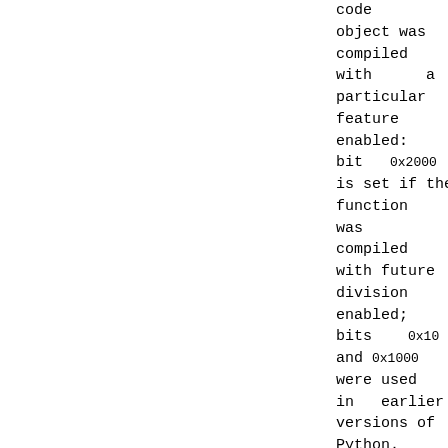code object was compiled with a particular feature enabled: bit 0x2000 is set if the function was compiled with future division enabled; bits 0x10 and 0x1000 were used in earlier versions of Python.